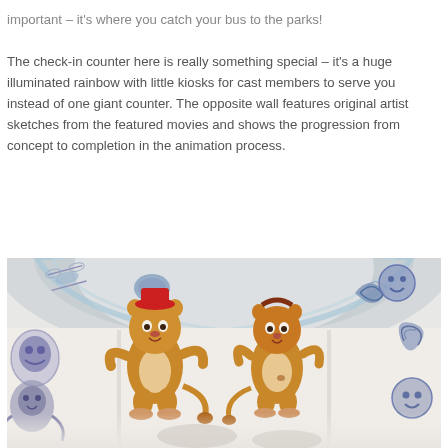important – it's where you catch your bus to the parks!
The check-in counter here is really something special – it's a huge illuminated rainbow with little kiosks for cast members to serve you instead of one giant counter. The opposite wall features original artist sketches from the featured movies and shows the progression from concept to completion in the animation process.
[Figure (photo): Interior photo of a Disney resort check-in area showing a curved wall decorated with colorful original artist sketches and cartoon character drawings including lion characters, a blue creature, and various other animated figures in progress stages from concept to completion.]